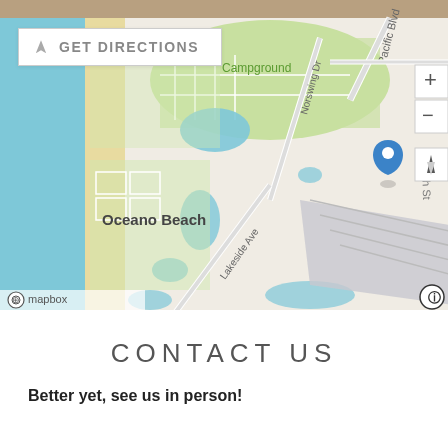[Figure (map): Mapbox map showing Oceano Beach area with location pin, streets including Pacific Blvd, Norswing Dr, Lakeside Ave, Highland Way, Pike Ln, 13th St, Front St, Railro(ad), route 1 marker, campground area, blue water features, get directions button, and zoom/navigation controls. © mapbox credit visible.]
CONTACT US
Better yet, see us in person!